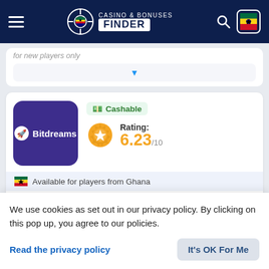CASINO & BONUSES FINDER
for new players only
[Figure (screenshot): Dropdown selector with blue triangle arrow]
[Figure (logo): Bitdreams casino logo - purple rounded square with rocket icon and white text Bitdreams]
Cashable
Rating: 6.23/10
Available for players from Ghana
Deposit Bonus: 200%
up to EUR 100
We use cookies as set out in our privacy policy. By clicking on this pop up, you agree to our policies.
Read the privacy policy
It's OK For Me